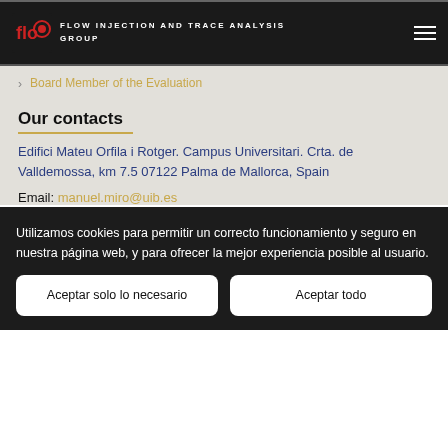FLOW INJECTION AND TRACE ANALYSIS GROUP
Board Member of the Evaluation
Our contacts
Edifici Mateu Orfila i Rotger. Campus Universitari. Crta. de Valldemossa, km 7.5 07122 Palma de Mallorca, Spain
Email: manuel.miro@uib.es
Utilizamos cookies para permitir un correcto funcionamiento y seguro en nuestra página web, y para ofrecer la mejor experiencia posible al usuario.
Aceptar solo lo necesario
Aceptar todo